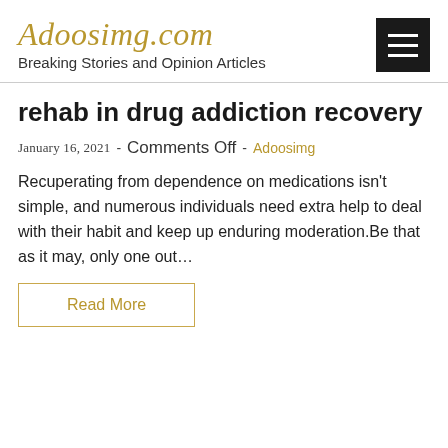Adoosimg.com
Breaking Stories and Opinion Articles
rehab in drug addiction recovery
January 16, 2021 - Comments Off - Adoosimg
Recuperating from dependence on medications isn't simple, and numerous individuals need extra help to deal with their habit and keep up enduring moderation.Be that as it may, only one out...
Read More